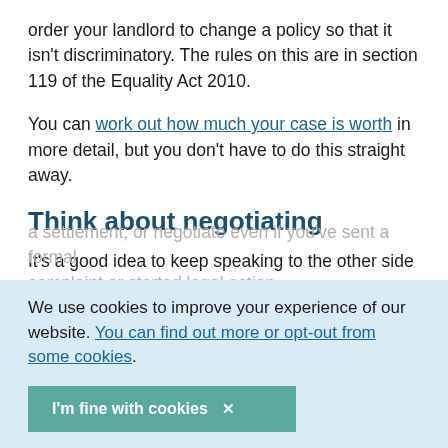order your landlord to change a policy so that it isn't discriminatory. The rules on this are in section 119 of the Equality Act 2010.
You can work out how much your case is worth in more detail, but you don't have to do this straight away.
Think about negotiating
It's a good idea to keep speaking to the other side once you've taken action. You might be able to negotiate a settlement, or negotiate even if you've sent a formal complaint or started legal action.
We use cookies to improve your experience of our website. You can find out more or opt-out from some cookies.
I'm fine with cookies ×